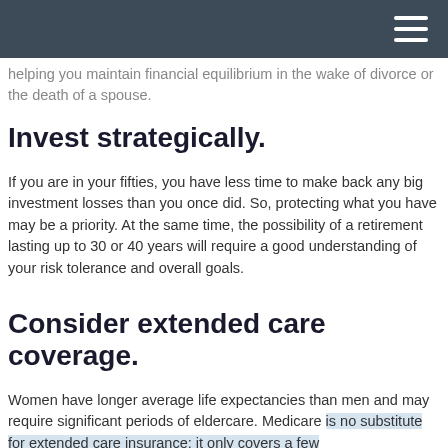helping you maintain financial equilibrium in the wake of divorce or the death of a spouse.
Invest strategically.
If you are in your fifties, you have less time to make back any big investment losses than you once did. So, protecting what you have may be a priority. At the same time, the possibility of a retirement lasting up to 30 or 40 years will require a good understanding of your risk tolerance and overall goals.
Consider extended care coverage.
Women have longer average life expectancies than men and may require significant periods of eldercare. Medicare is no substitute for extended care insurance; it only covers a few